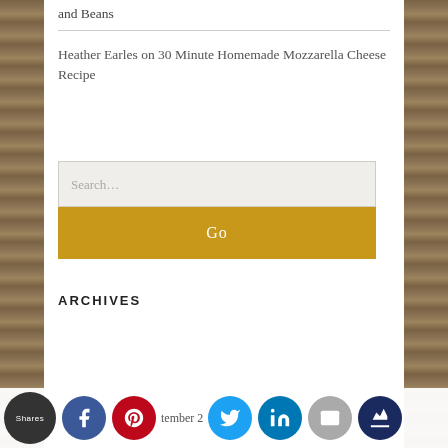and Beans
Heather Earles on 30 Minute Homemade Mozzarella Cheese Recipe
Search...
Go
ARCHIVES
Shares | Facebook | Pinterest | tember 2 | Twitter | LinkedIn | Email | Crown